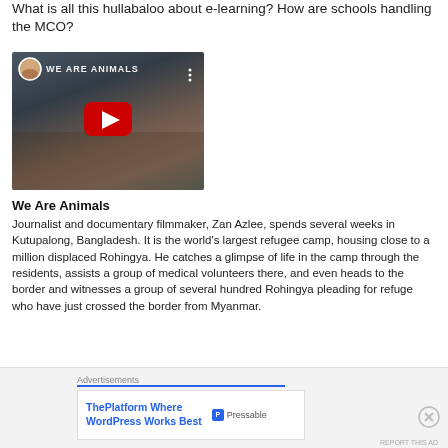What is all this hullabaloo about e-learning? How are schools handling the MCO?
[Figure (screenshot): YouTube video thumbnail for 'We Are Animals' showing a crowd of people in a refugee camp, with a circular avatar of a woman in the top-left corner and a red YouTube play button in the center. Title text 'WE ARE ANIMALS' appears at the top.]
We Are Animals
Journalist and documentary filmmaker, Zan Azlee, spends several weeks in Kutupalong, Bangladesh. It is the world's largest refugee camp, housing close to a million displaced Rohingya. He catches a glimpse of life in the camp through the residents, assists a group of medical volunteers there, and even heads to the border and witnesses a group of several hundred Rohingya pleading for refuge who have just crossed the border from Myanmar.
Advertisements
ThePlatform Where WordPress Works Best — Pressable